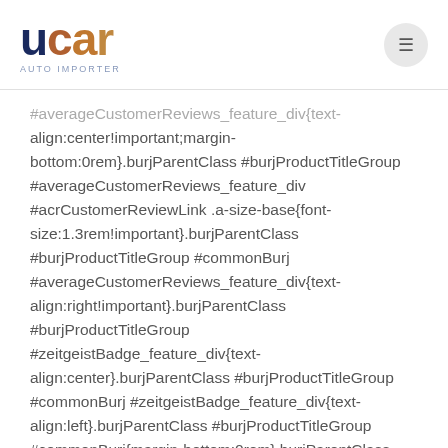[Figure (logo): UCAR logo with dark blue 'u' and brown/tan 'car' lettering, subtitle text below, with a circular menu button on the right]
#averageCustomerReviews_feature_div{text-align:center!important;margin-bottom:0rem}.burjParentClass #burjProductTitleGroup #averageCustomerReviews_feature_div #acrCustomerReviewLink .a-size-base{font-size:1.3rem!important}.burjParentClass #burjProductTitleGroup #commonBurj #averageCustomerReviews_feature_div{text-align:right!important}.burjParentClass #burjProductTitleGroup #zeitgeistBadge_feature_div{text-align:center}.burjParentClass #burjProductTitleGroup #commonBurj #zeitgeistBadge_feature_div{text-align:left}.burjParentClass #burjProductTitleGroup #commonBurj{margin-bottom:0rem}.burjParentClass #burjProductTitleGroup #title{font-